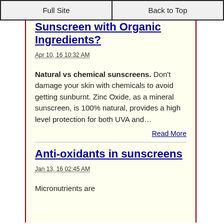Full Site | Back to Top
Sunscreen with Organic Ingredients?
Apr 10, 16 10:32 AM
Natural vs chemical sunscreens. Don't damage your skin with chemicals to avoid getting sunburnt. Zinc Oxide, as a mineral sunscreen, is 100% natural, provides a high level protection for both UVA and…
Read More
Anti-oxidants in sunscreens
Jan 13, 16 02:45 AM
Micronutrients are